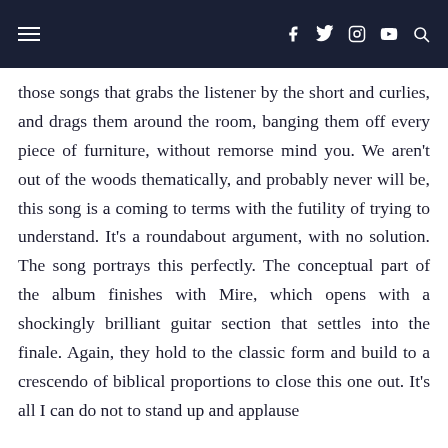Navigation header with hamburger menu and social icons: f (Facebook), Twitter, Instagram, YouTube, Search
those songs that grabs the listener by the short and curlies, and drags them around the room, banging them off every piece of furniture, without remorse mind you. We aren't out of the woods thematically, and probably never will be, this song is a coming to terms with the futility of trying to understand. It's a roundabout argument, with no solution. The song portrays this perfectly. The conceptual part of the album finishes with Mire, which opens with a shockingly brilliant guitar section that settles into the finale. Again, they hold to the classic form and build to a crescendo of biblical proportions to close this one out. It's all I can do not to stand up and applause